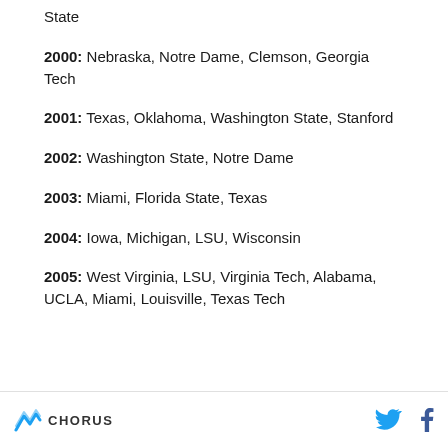State
2000: Nebraska, Notre Dame, Clemson, Georgia Tech
2001: Texas, Oklahoma, Washington State, Stanford
2002: Washington State, Notre Dame
2003: Miami, Florida State, Texas
2004: Iowa, Michigan, LSU, Wisconsin
2005: West Virginia, LSU, Virginia Tech, Alabama, UCLA, Miami, Louisville, Texas Tech
CHORUS